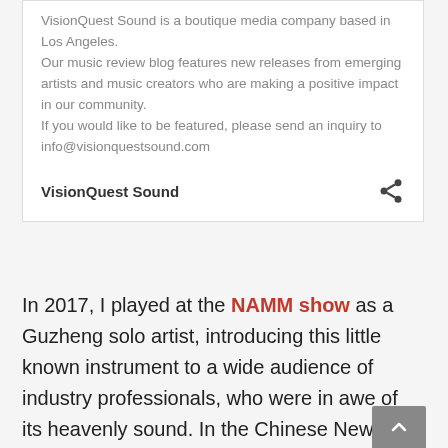VisionQuest Sound is a boutique media company based in Los Angeles.
Our music review blog features new releases from emerging artists and music creators who are making a positive impact in our community.
If you would like to be featured, please send an inquiry to info@visionquestsound.com
VisionQuest Sound
In 2017, I played at the NAMM show as a Guzheng solo artist, introducing this little known instrument to a wide audience of industry professionals, who were in awe of its heavenly sound. In the Chinese New Year Gala 2019, I was honored to collaborate with Maestro Carl St. Clair, Conductor Roger Kalia, and the Pacific Symphony at the Renée and Henry Segerstrom Concert Hall.